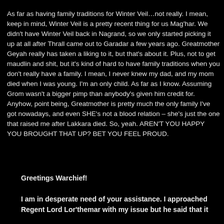As far as having family traditions for Winter Veil…not really. I mean, keep in mind, Winter Veil is a pretty recent thing for us Mag'har. We didn't have Winter Veil back in Nagrand, so we only started picking it up at all after Thrall came out to Garadar a few years ago. Greatmother Geyah really has taken a liking to it, but that's about it. Plus, not to get maudlin and shit, but it's kind of hard to have family traditions when you don't really have a family. I mean, I never knew my dad, and my mom died when I was young. I'm an only child. As far as I know. Assuming Grom wasn't a bigger pimp than anybody's given him credit for. Anyhow, point being, Greatmother is pretty much the only family I've got nowadays, and even SHE's not a blood relation – she's just the one that raised me after Lakkara died. So, yeah. AREN'T YOU HAPPY YOU BROUGHT THAT UP? BET YOU FEEL PROUD.
Greetings Warchief!
I am in desperate need of your assistance. I approached Regent Lord Lor'themar with my issue but he said that it